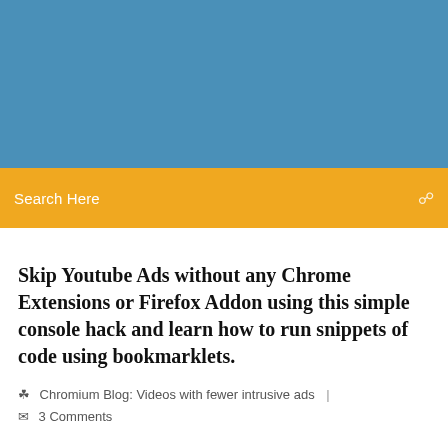[Figure (other): Blue header banner background]
Search Here
Skip Youtube Ads without any Chrome Extensions or Firefox Addon using this simple console hack and learn how to run snippets of code using bookmarklets.
Chromium Blog: Videos with fewer intrusive ads  |  3 Comments
Google Chrome to block annoying video ads soon - ...